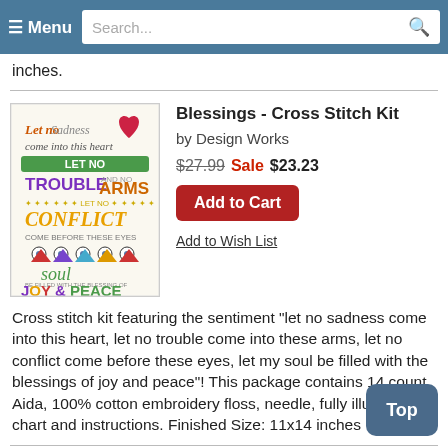≡ Menu  Search...
inches.
[Figure (illustration): Cross stitch kit product image showing colorful embroidered text: Let no Sadness come into this heart, LET NO TROUBLE come into these ARMS, LET NO CONFLICT come before these eyes, soul be filled with the blessing of JOY & PEACE]
Blessings - Cross Stitch Kit
by Design Works
$27.99 Sale $23.23
Add to Cart
Add to Wish List
Cross stitch kit featuring the sentiment "let no sadness come into this heart, let no trouble come into these arms, let no conflict come before these eyes, let my soul be filled with the blessings of joy and peace"! This package contains 14 count Aida, 100% cotton embroidery floss, needle, fully illustrated chart and instructions. Finished Size: 11x14 inches